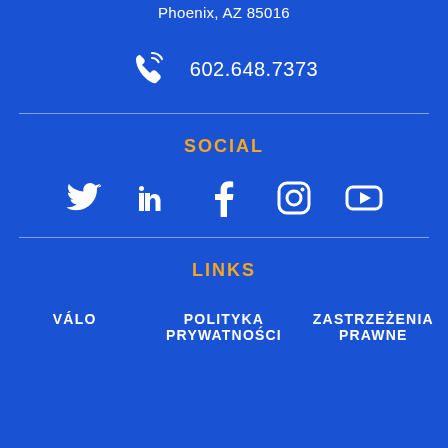Phoenix, AZ 85016
602.648.7373
SOCIAL
[Figure (illustration): Social media icons: Twitter, LinkedIn, Facebook, Instagram, YouTube]
LINKS
VÁLO
POLITYKA PRYWATNOŚCI
ZASTRZEŻENIA PRAWNE